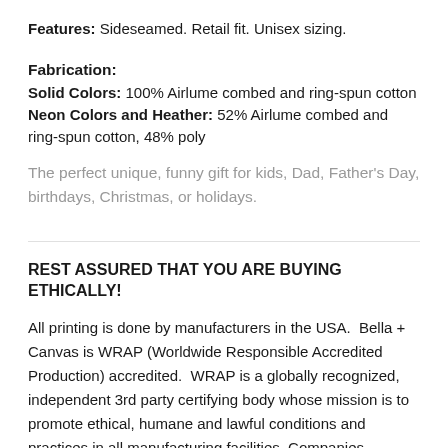Features: Sideseamed. Retail fit. Unisex sizing.
Fabrication:
Solid Colors: 100% Airlume combed and ring-spun cotton
Neon Colors and Heather: 52% Airlume combed and ring-spun cotton, 48% poly
The perfect unique, funny gift for kids, Dad, Father's Day, birthdays, Christmas, or holidays.
REST ASSURED THAT YOU ARE BUYING ETHICALLY!
All printing is done by manufacturers in the USA.  Bella + Canvas is WRAP (Worldwide Responsible Accredited Production) accredited.  WRAP is a globally recognized, independent 3rd party certifying body whose mission is to promote ethical, humane and lawful conditions and practices in all manufacturing facilities. Companies accepted into the WRAP organization go through an extensive application process in which manufacturing